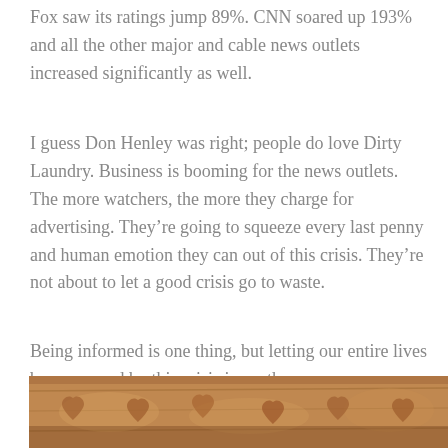Fox saw its ratings jump 89%. CNN soared up 193% and all the other major and cable news outlets increased significantly as well.
I guess Don Henley was right; people do love Dirty Laundry. Business is booming for the news outlets. The more watchers, the more they charge for advertising. They're going to squeeze every last penny and human emotion they can out of this crisis. They're not about to let a good crisis go to waste.
Being informed is one thing, but letting our entire lives be consumed by this crisis is another.
[Figure (photo): A close-up photo of a wooden or stone carved surface with heart shapes and decorative elements, shown in warm brown tones.]